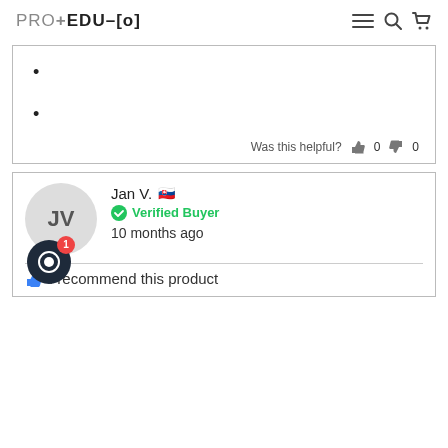PRO+EDU [o]
•
•
Was this helpful? 0 0
Jan V. 🇸🇰
Verified Buyer
10 months ago
I recommend this product